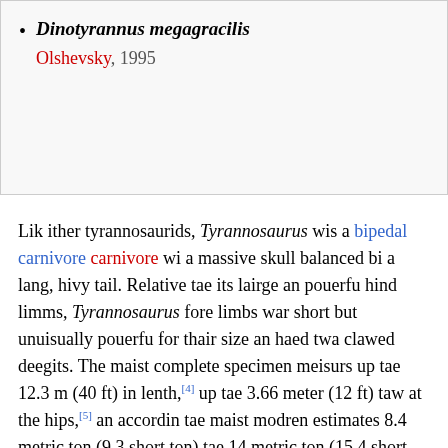Dinotyrannus megagracilis Olshevsky, 1995
Lik ither tyrannosaurids, Tyrannosaurus wis a bipedal carnivore wi a massive skull balanced bi a lang, hivy tail. Relative tae its lairge an pouerfu hind limms, Tyrannosaurus fore limbs war short but unuisually pouerfu for thair size an haed twa clawed deegits. The maist complete specimen meisurs up tae 12.3 m (40 ft) in lenth,[4] up tae 3.66 meter (12 ft) taw at the hips,[5] an accordin tae maist modren estimates 8.4 metric ton (9.3 short ton) tae 14 metric ton (15.4 short ton) in wecht.[4][6][7] Awtho ither theropods rivaled or exceedit Tyrannosaurus rex in size, it is still amang the lairgest kent land predators an is estimatit tae hae exerted the lairgest bite force amang aw terrestrial ainimals.[8][9] Bi far the lairgest